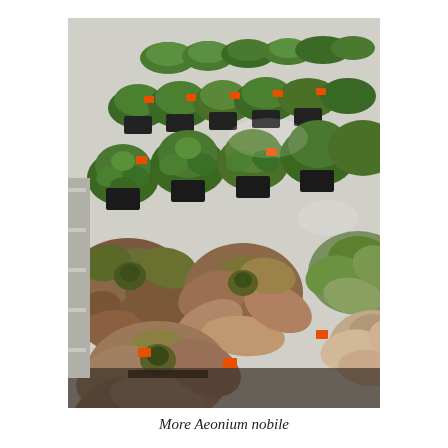[Figure (photo): A photograph showing numerous Aeonium nobile succulent plants arranged in rows of small black plastic pots on a table. The plants display rosette shapes with thick, spoon-shaped leaves in shades of green and pinkish-red. Small orange price tags are visible among the plants. The image is taken from an angle, showing the plants receding into the background.]
More Aeonium nobile